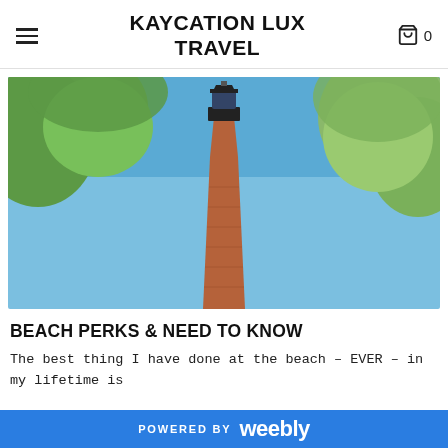KAYCATION LUX TRAVEL
[Figure (photo): Tall red brick lighthouse tower photographed from below against a clear blue sky, with green tree branches framing the top corners of the image.]
BEACH PERKS & NEED TO KNOW
The best thing I have done at the beach - EVER - in my lifetime is
POWERED BY weebly